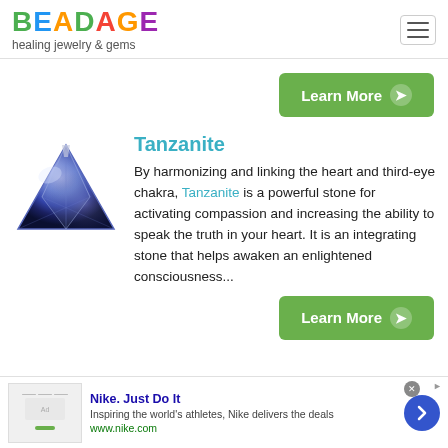BEADAGE healing jewelry & gems
Learn More
[Figure (photo): A triangular faceted tanzanite gemstone, deep blue-violet in color]
Tanzanite
By harmonizing and linking the heart and third-eye chakra, Tanzanite is a powerful stone for activating compassion and increasing the ability to speak the truth in your heart. It is an integrating stone that helps awaken an enlightened consciousness...
Learn More
Nike. Just Do It
Inspiring the world's athletes, Nike delivers the deals
www.nike.com